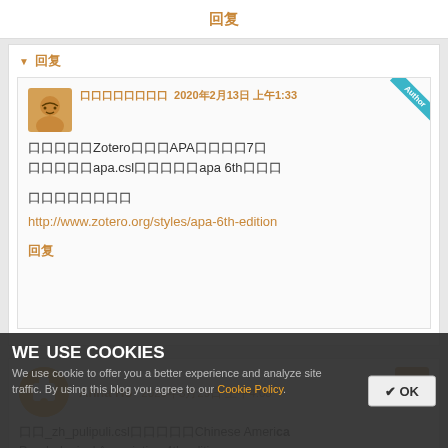回复
▼ 回复
口口口口口口口口 2020年2月13日 上午1:33
口口口口口Zotero口口口APA口口口口7口
口口口口口apa.csl口口口口口apa 6th口口口

口口口口口口口口
http://www.zotero.org/styles/apa-6th-edition

回复
Anna Ho  2020年3月29日 上午4:03
口口_zh_pulipuli.csl口口口口口Chinese American Psychological Association 4th edition 口口口口口口口口口?
回复
WE USE COOKIES
We use cookie to offer you a better experience and analyze site traffic. By using this blog you agree to our Cookie Policy.
✔ OK